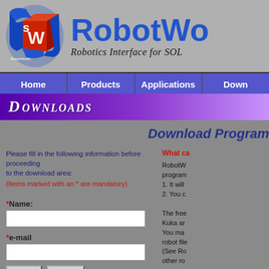[Figure (logo): RobotWorks logo - a red and blue 3D cube with 'SW' text, wrapped in blue metallic frame]
RobotWorks - Robotics Interface for SOLIDWORKS
Home | Products | Applications | Downloads
DOWNLOADS
Download Program
Please fill in the following information before proceeding to the download area:
(Items marked with an * are mandatory)
What ca...
RobotWorks program...
1. It will...
2. You c...
The free...
Kuka and...
You may...
robot file...
(See Ro...
other ro...